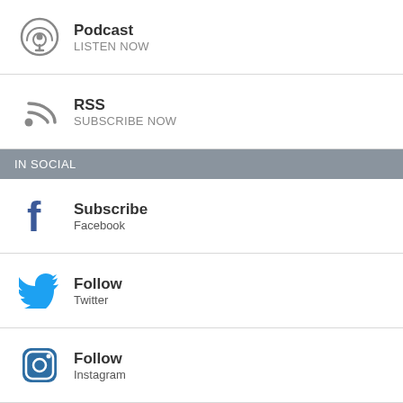Podcast LISTEN NOW
RSS SUBSCRIBE NOW
IN SOCIAL
Subscribe Facebook
Follow Twitter
Follow Instagram
Help us improve